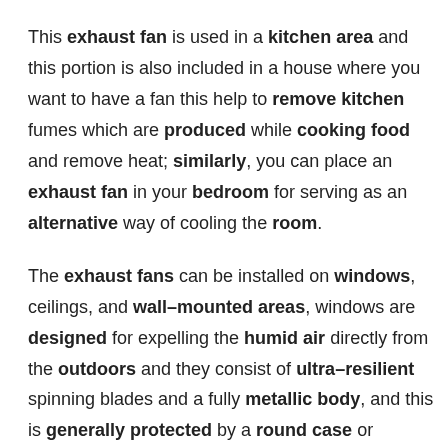This exhaust fan is used in a kitchen area and this portion is also included in a house where you want to have a fan this help to remove kitchen fumes which are produced while cooking food and remove heat; similarly, you can place an exhaust fan in your bedroom for serving as an alternative way of cooling the room.
The exhaust fans can be installed on windows, ceilings, and wall–mounted areas, windows are designed for expelling the humid air directly from the outdoors and they consist of ultra–resilient spinning blades and a fully metallic body, and this is generally protected by a round case or square case. This is directly installed inside a window and wall.